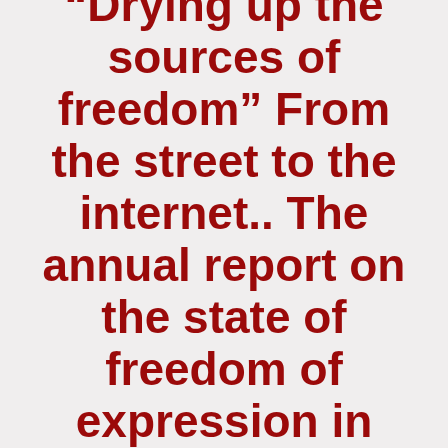“Drying up the sources of freedom” From the street to the internet.. The annual report on the state of freedom of expression in